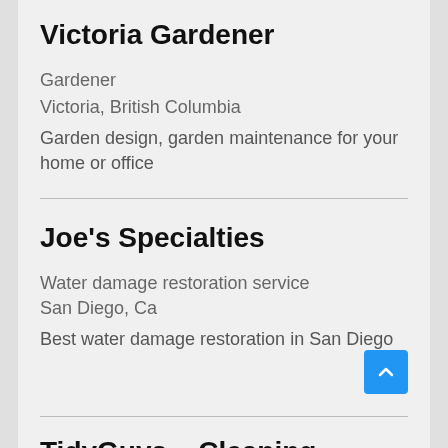Victoria Gardener
Gardener
Victoria, British Columbia
Garden design, garden maintenance for your home or office
Joe's Specialties
Water damage restoration service
San Diego, Ca
Best water damage restoration in San Diego
TidyGuys – Cleaning Service